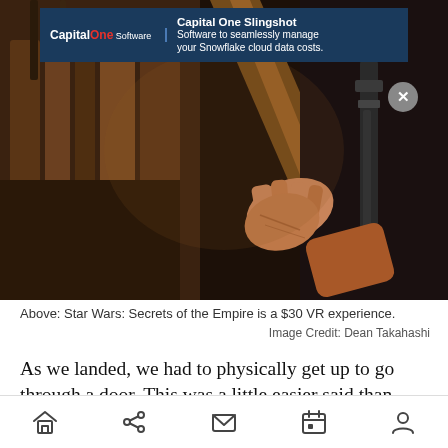[Figure (screenshot): Advertisement banner overlay on a dark image showing a Star Wars VR scene with hands and equipment. Capital One Slingshot ad at top.]
[Figure (photo): Dark scene from Star Wars: Secrets of the Empire VR experience showing hands and equipment in a dimly lit environment.]
Above: Star Wars: Secrets of the Empire is a $30 VR experience.
Image Credit: Dean Takahashi
As we landed, we had to physically get up to go through a door. This was a little easier said than done. I didn’t want to bump into anything. So, I
Navigation bar with home, share, mail, calendar, and profile icons